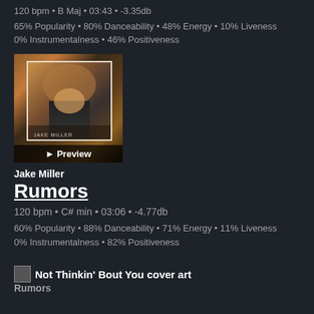120 bpm • B Maj • 03:43 • -3.35db
65% Popularity • 80% Danceability • 48% Energy • 10% Liveness
0% Instrumentalness • 46% Positiveness
[Figure (photo): Album cover art for Jake Miller showing group of people, with a Preview button overlay]
Jake Miller
Rumors
120 bpm • C# min • 03:06 • -4.77db
60% Popularity • 88% Danceability • 71% Energy • 11% Liveness
0% Instrumentalness • 82% Positiveness
Not Thinkin' Bout You cover art